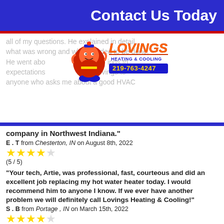Contact Us Today
all of my questions. He explained in detail what was wrong and what needed to be done. He went above and beyond my expectations... I recommend Lovings to anyone who asks me about a good HVAC company in Northwest Indiana."
E . T from Chesterton, IN on August 8th, 2022
★★★★★ (5 / 5)
"Your tech, Artie, was professional, fast, courteous and did an excellent job replacing my hot water heater today. I would recommend him to anyone I know. If we ever have another problem we will definitely call Lovings Heating & Cooling!"
S . B from Portage , IN on March 15th, 2022
★★★★★ (5 / 5)